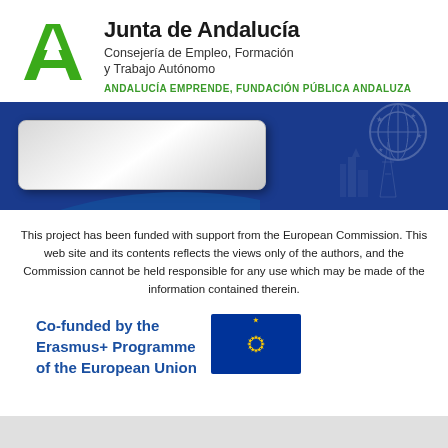[Figure (logo): Junta de Andalucía green A logo]
Junta de Andalucía
Consejería de Empleo, Formación y Trabajo Autónomo
ANDALUCÍA EMPRENDE, FUNDACIÓN PÚBLICA ANDALUZA
[Figure (illustration): Blue banner with white rounded rectangle overlay and decorative Euro imagery on the right]
This project has been funded with support from the European Commission. This web site and its contents reflects the views only of the authors, and the Commission cannot be held responsible for any use which may be made of the information contained therein.
Co-funded by the Erasmus+ Programme of the European Union
[Figure (logo): European Union flag — blue background with circle of 12 yellow stars]